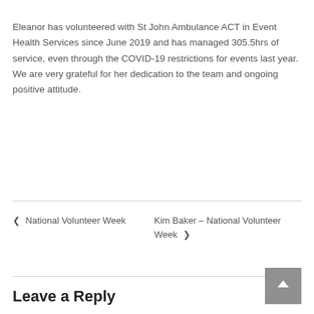Eleanor has volunteered with St John Ambulance ACT in Event Health Services since June 2019 and has managed 305.5hrs of service, even through the COVID-19 restrictions for events last year. We are very grateful for her dedication to the team and ongoing positive attitude.
‹ National Volunteer Week
Kim Baker – National Volunteer Week ›
Leave a Reply